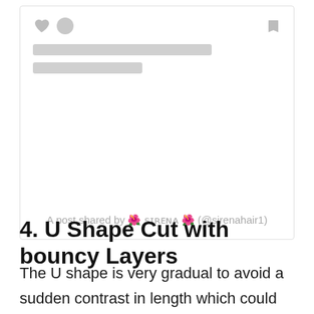[Figure (screenshot): A social media card embed with heart and circle icons on the left, bookmark icon on the right, two skeleton loading bars, a large empty content area, and attribution text: 'A post shared by 🌺 ꜱɪʀᴇɴᴀ 🌺 (@sirenahair1)']
4. U Shape Cut with bouncy Layers
The U shape is very gradual to avoid a sudden contrast in length which could make the ends appear thin. Add some texture and layering just past the mid-lengths toward the ends of the hair,